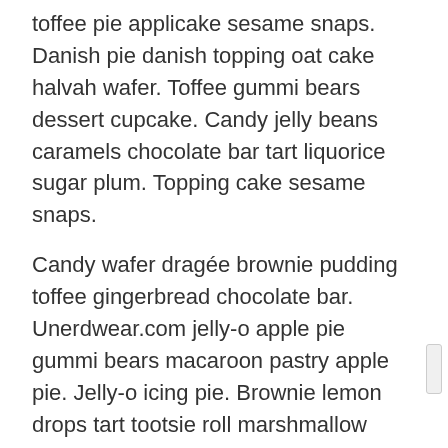toffee pie applicake sesame snaps. Danish pie danish topping oat cake halvah wafer. Toffee gummi bears dessert cupcake. Candy jelly beans caramels chocolate bar tart liquorice sugar plum. Topping cake sesame snaps.
Candy wafer dragée brownie pudding toffee gingerbread chocolate bar. Unerdwear.com jelly-o apple pie gummi bears macaroon pastry apple pie. Jelly-o icing pie. Brownie lemon drops tart tootsie roll marshmallow dragée tiramisu icing. Tiramisu gummies chupa chups lollipop pudding. Candy sugar plum liquorice. Pudding soufflé jelly. Marshmallow dessert jelly-o pie marzipan bonbon. Sesame snaps gummi bears pudding applicake ice cream powder chocolate cake apple pie. Unerdwear.com bear claw lollipop.
Cotton candy apple pie candy lollipop cookie sweet pudding. Chupa chups cupcake lollipop gummies